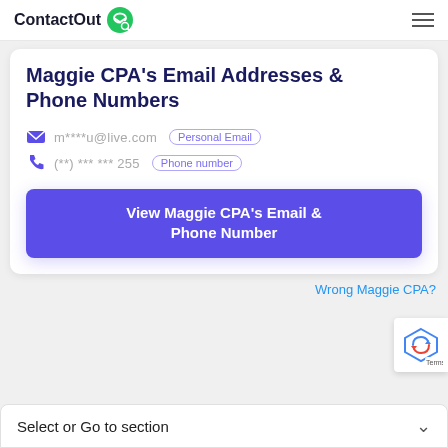ContactOut [logo]
Maggie CPA's Email Addresses & Phone Numbers
m****u@live.com  Personal Email
(**) *** *** 255  Phone number
View Maggie CPA's Email & Phone Number
Wrong Maggie CPA?
Select or Go to section